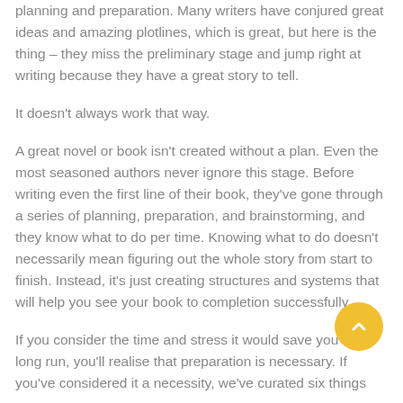planning and preparation. Many writers have conjured great ideas and amazing plotlines, which is great, but here is the thing – they miss the preliminary stage and jump right at writing because they have a great story to tell.
It doesn't always work that way.
A great novel or book isn't created without a plan. Even the most seasoned authors never ignore this stage. Before writing even the first line of their book, they've gone through a series of planning, preparation, and brainstorming, and they know what to do per time. Knowing what to do doesn't necessarily mean figuring out the whole story from start to finish. Instead, it's just creating structures and systems that will help you see your book to completion successfully.
If you consider the time and stress it would save you in the long run, you'll realise that preparation is necessary. If you've considered it a necessity, we've curated six things